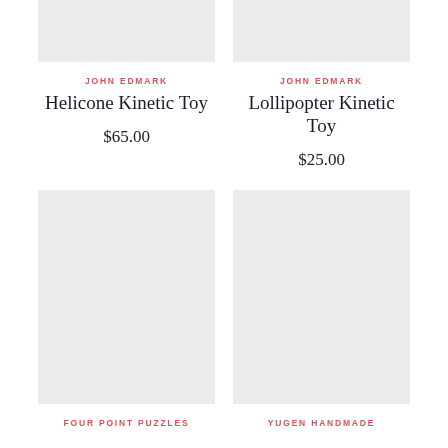[Figure (photo): Product image placeholder for Helicone Kinetic Toy (top left, light gray box)]
[Figure (photo): Product image placeholder for Lollipopter Kinetic Toy (top right, light gray box)]
JOHN EDMARK
Helicone Kinetic Toy
$65.00
JOHN EDMARK
Lollipopter Kinetic Toy
$25.00
[Figure (photo): Product image placeholder (bottom left, large light gray box)]
[Figure (photo): Product image placeholder (bottom right, large light gray box)]
FOUR POINT PUZZLES
YUGEN HANDMADE